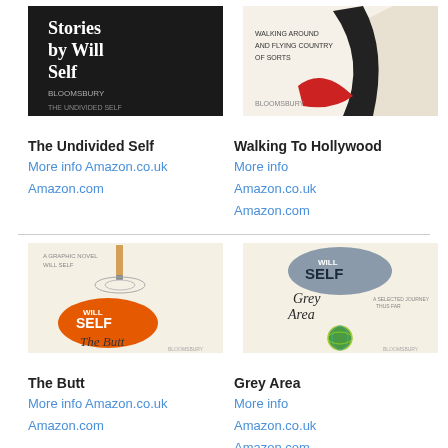[Figure (illustration): Book cover: The Undivided Self by Will Self, dark/black cover with bold white serif text]
[Figure (illustration): Book cover: Walking To Hollywood by Will Self, light cover with red/black road graphic]
The Undivided Self
More info Amazon.co.uk
Amazon.com
Walking To Hollywood
More info
Amazon.co.uk
Amazon.com
[Figure (illustration): Book cover: The Butt by Will Self, cream background with orange Will Self logo and cigarette image]
[Figure (illustration): Book cover: Grey Area by Will Self, grey/blue cover with yarn ball and Will Self badge]
The Butt
More info Amazon.co.uk
Amazon.com
Grey Area
More info
Amazon.co.uk
Amazon.com
[Figure (illustration): Partial book cover at bottom left, cream with wavy lines (stamp-like)]
[Figure (illustration): Partial book cover at bottom right, cream with purple Will Self logo]